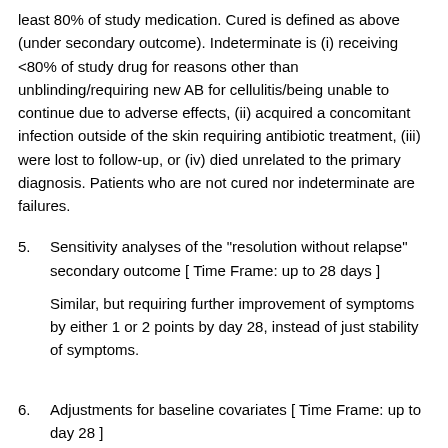least 80% of study medication. Cured is defined as above (under secondary outcome). Indeterminate is (i) receiving <80% of study drug for reasons other than unblinding/requiring new AB for cellulitis/being unable to continue due to adverse effects, (ii) acquired a concomitant infection outside of the skin requiring antibiotic treatment, (iii) were lost to follow-up, or (iv) died unrelated to the primary diagnosis. Patients who are not cured nor indeterminate are failures.
5. Sensitivity analyses of the "resolution without relapse" secondary outcome [ Time Frame: up to 28 days ]
Similar, but requiring further improvement of symptoms by either 1 or 2 points by day 28, instead of just stability of symptoms.
6. Adjustments for baseline covariates [ Time Frame: up to day 28 ]